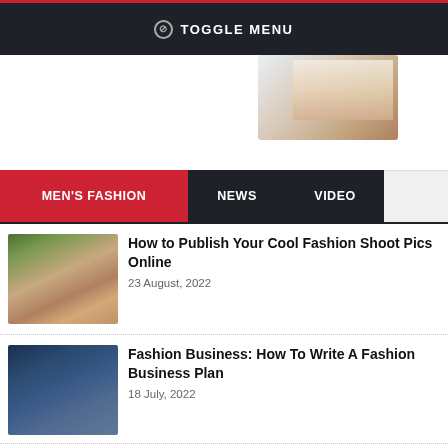⊘ TOGGLE MENU
[Figure (photo): Partial view of a fashion outfit (white top with printed pattern), cropped at top of page]
MEN'S FASHION | NEWS | VIDEO
How to Publish Your Cool Fashion Shoot Pics Online
23 August, 2022
Fashion Business: How To Write A Fashion Business Plan
18 July, 2022